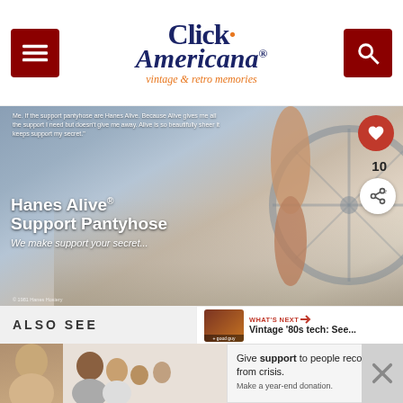Click Americana® vintage & retro memories
[Figure (photo): Vintage 1981 Hanes Alive Support Pantyhose advertisement showing woman's legs on a staircase with wicker furniture]
Me. If the support pantyhose are Hanes Alive. Because Alive gives me all the support I need but doesn't give me away. Alive is so beautifully sheer it keeps support my secret.
Hanes Alive® Support Pantyhose
We make support your secret...
© 1981 Hanes Hosiery
WHAT'S NEXT → Vintage '80s tech: See...
ALSO SEE
[Figure (photo): Bottom strip showing person with brown hair and family photo]
Give support to people recovering from crisis. Make a year-end donation.